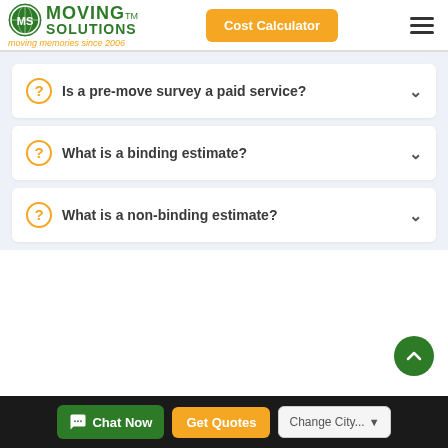Moving Solutions - moving memories since 2006
Is a pre-move survey a paid service?
What is a binding estimate?
What is a non-binding estimate?
Chat Now | Get Quotes | Change City...